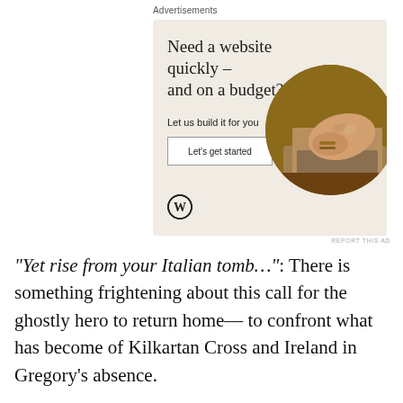Advertisements
[Figure (other): WordPress advertisement: 'Need a website quickly – and on a budget? Let us build it for you' with a 'Let's get started' button, WordPress logo, and a circular photo of hands typing on a laptop.]
“Yet rise from your Italian tomb…”: There is something frightening about this call for the ghostly hero to return home— to confront what has become of Kilkartan Cross and Ireland in Gregory’s absence.